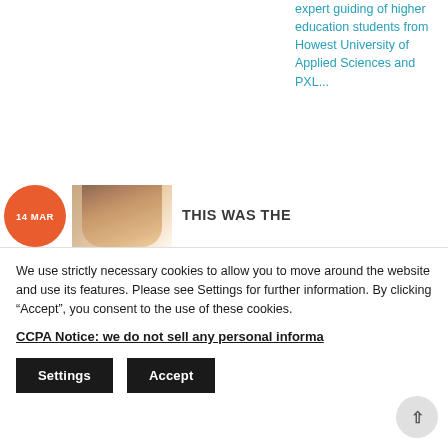expert guiding of higher education students from Howest University of Applied Sciences and PXL...
[Figure (photo): Orange circular date badge showing '14 MAR' and a partial photo of a person's face]
THIS WAS THE
We use strictly necessary cookies to allow you to move around the website and use its features. Please see Settings for further information. By clicking “Accept”, you consent to the use of these cookies.
CCPA Notice: we do not sell any personal informa...